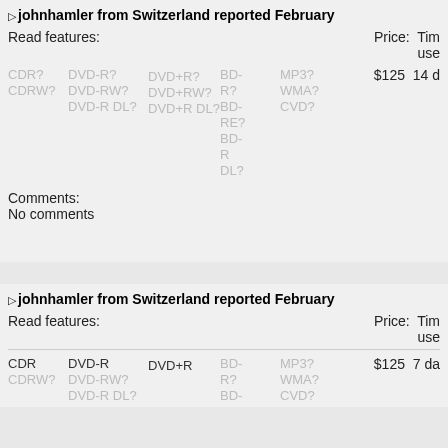□ johnhamler from Switzerland reported February
Read features:    Price: Time used
CDR? DVD-R?  BD- MP3? $125 14 d
CDRW? DVD-RW?  R? WMA?
 DVD-R DL? DVD+R?  BD- CVD?
  DVD+RW?  RE?
  DVD+R DL? BD-
    R
    DL?
Comments:
No comments
□ johnhamler from Switzerland reported February
Read features:    Price: Time used
CDR  DVD-R  BD- MP3? $125 7 da
CDRW? DVD-RW?  R? WMA?
 DVD-R DL? DVD+R  BD- CVD?